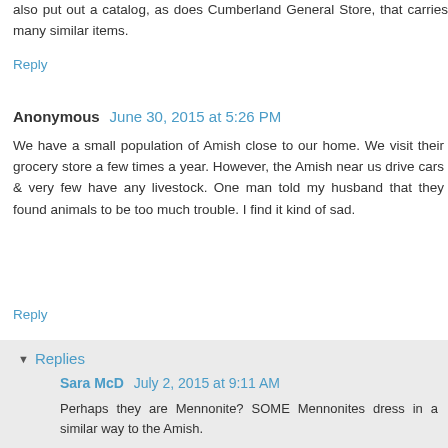also put out a catalog, as does Cumberland General Store, that carries many similar items.
Reply
Anonymous  June 30, 2015 at 5:26 PM
We have a small population of Amish close to our home. We visit their grocery store a few times a year. However, the Amish near us drive cars & very few have any livestock. One man told my husband that they found animals to be too much trouble. I find it kind of sad.
Reply
▼ Replies
Sara McD  July 2, 2015 at 9:11 AM
Perhaps they are Mennonite? SOME Mennonites dress in a similar way to the Amish.
Some Amish take rides from "English" but I've never known of a baptized (adult) member of an